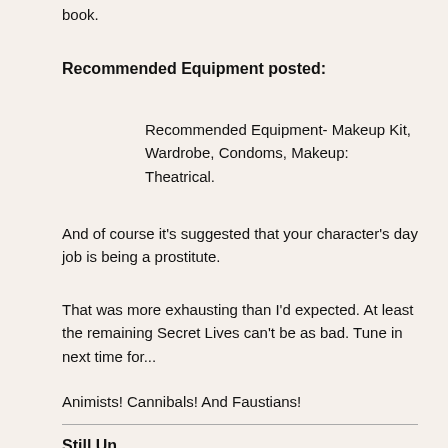book.
Recommended Equipment posted:
Recommended Equipment- Makeup Kit, Wardrobe, Condoms, Makeup: Theatrical.
And of course it's suggested that your character's day job is being a prostitute.
That was more exhausting than I'd expected. At least the remaining Secret Lives can't be as bad. Tune in next time for...
Animists! Cannibals! And Faustians!
Still Unrecovered...